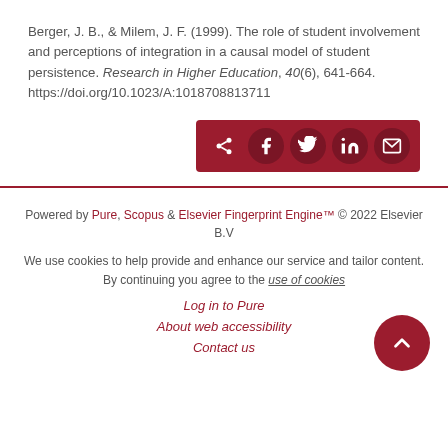Berger, J. B., & Milem, J. F. (1999). The role of student involvement and perceptions of integration in a causal model of student persistence. Research in Higher Education, 40(6), 641-664. https://doi.org/10.1023/A:1018708813711
[Figure (other): Share bar with social media icons: share, Facebook, Twitter, LinkedIn, email]
Powered by Pure, Scopus & Elsevier Fingerprint Engine™ © 2022 Elsevier B.V
We use cookies to help provide and enhance our service and tailor content. By continuing you agree to the use of cookies
Log in to Pure
About web accessibility
Contact us